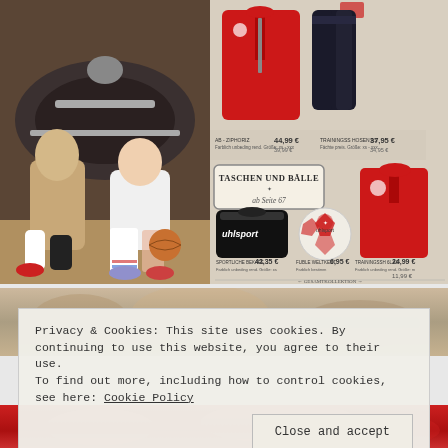[Figure (photo): Left half: Two young people (man and woman in athletic/retro sportswear) sitting in front of a classic dark car. Right half: Sports catalog page showing red zip jacket, dark track pants, sports bag (uhlsport), soccer ball, and red jersey with product prices in euros. Banner reads 'TASCHEN UND BÄLLE ab Seite 67'.]
[Figure (photo): Blurred background photo strip showing person in warm tones.]
Privacy & Cookies: This site uses cookies. By continuing to use this website, you agree to their use.
To find out more, including how to control cookies, see here: Cookie Policy
[Figure (photo): Bottom strip showing red sportswear/jersey.]